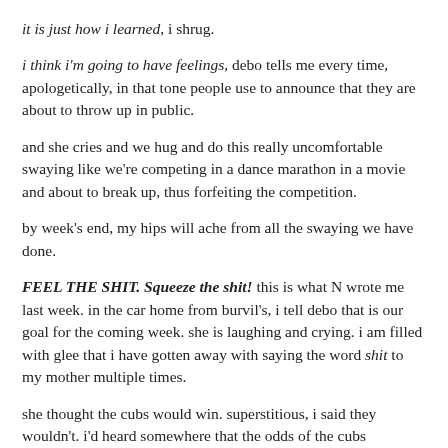it is just how i learned, i shrug.
i think i'm going to have feelings, debo tells me every time, apologetically, in that tone people use to announce that they are about to throw up in public.
and she cries and we hug and do this really uncomfortable swaying like we're competing in a dance marathon in a movie and about to break up, thus forfeiting the competition.
by week's end, my hips will ache from all the swaying we have done.
FEEL THE SHIT. Squeeze the shit! this is what N wrote me last week. in the car home from burvil's, i tell debo that is our goal for the coming week. she is laughing and crying. i am filled with glee that i have gotten away with saying the word shit to my mother multiple times.
she thought the cubs would win. superstitious, i said they wouldn't. i'd heard somewhere that the odds of the cubs winning had been the same as some rare occurrence, i don't